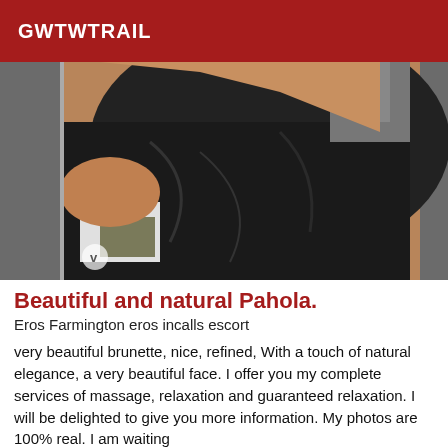GWTWTRAIL
[Figure (photo): Close-up photo of a woman in a black top, cropped view of torso and shoulder area, casual setting.]
Beautiful and natural Pahola.
Eros Farmington eros incalls escort
very beautiful brunette, nice, refined, With a touch of natural elegance, a very beautiful face. I offer you my complete services of massage, relaxation and guaranteed relaxation. I will be delighted to give you more information. My photos are 100% real. I am waiting